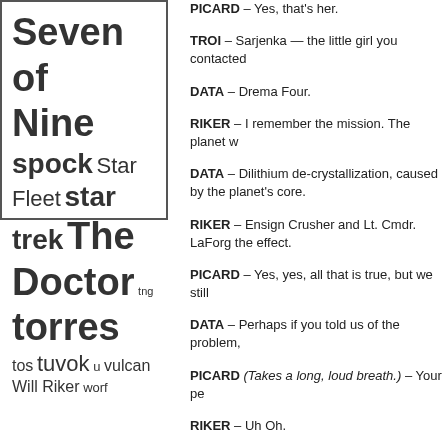[Figure (infographic): Tag cloud showing Star Trek related terms in varying font sizes: Seven of Nine, spock, Star Fleet, star trek, The Doctor, tng, torres, tos, tuvok, u, vulcan, Will Riker, worf]
PICARD – Yes, that's her.
TROI – Sarjenka — the little girl you contacted
DATA – Drema Four.
RIKER – I remember the mission. The planet w
DATA – Dilithium de-crystallization, caused by the planet's core.
RIKER – Ensign Crusher and Lt. Cmdr. LaForg the effect.
PICARD – Yes, yes, all that is true, but we still
DATA – Perhaps if you told us of the problem,
PICARD (Takes a long, loud breath.) – Your pe
RIKER – Uh Oh.
TROI – I thought Dr. Pulaski was able to isolate